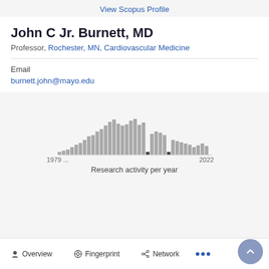View Scopus Profile
John C Jr. Burnett, MD
Professor, Rochester, MN, Cardiovascular Medicine
Email
burnett.john@mayo.edu
[Figure (histogram): Research activity per year]
Research activity per year
Overview  Fingerprint  Network  ...